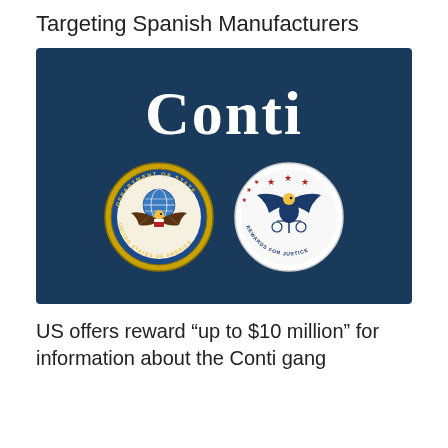Targeting Spanish Manufacturers
[Figure (illustration): Dark navy blue banner with 'Conti' text in large white serif font above two official seals: US Department of State seal (left) and Rewards for Justice seal (right)]
US offers reward “up to $10 million” for information about the Conti gang